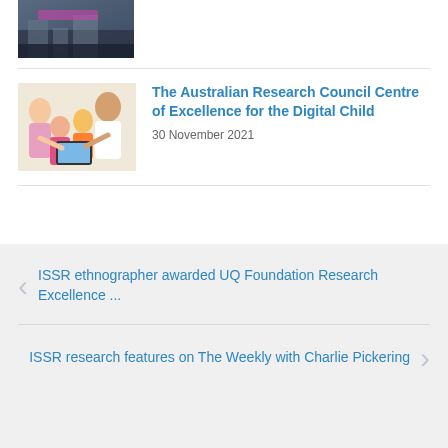[Figure (photo): Partially visible thumbnail image at the top of the page, appears dark/scenic]
[Figure (photo): Family photo showing parents and young children looking at a tablet device together]
The Australian Research Council Centre of Excellence for the Digital Child
30 November 2021
ISSR ethnographer awarded UQ Foundation Research Excellence ...
ISSR research features on The Weekly with Charlie Pickering